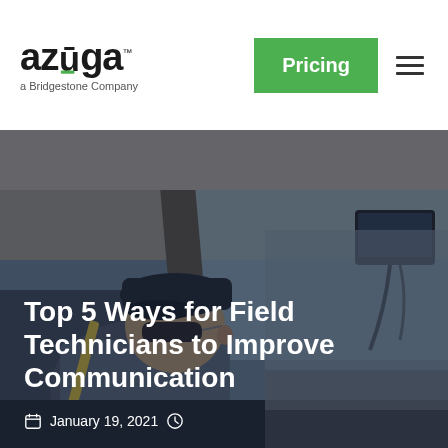azūga™ a Bridgestone Company | Pricing | Menu
[Figure (photo): Field technician/truck driver sitting in the cab of a large vehicle, viewed from the side, wearing sunglasses and a dark cap, with dashboard and GPS device visible. Dark blue overlay tint over the image.]
Top 5 Ways for Field Technicians to Improve Communication
January 19, 2021